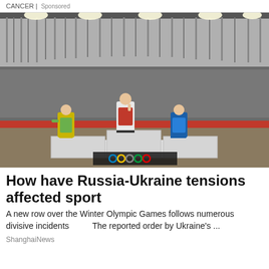CANCER | Sponsored
[Figure (photo): Olympic medal ceremony on a podium inside a large stadium packed with spectators. Three athletes stand on the podium: on the left, an athlete in a yellow-green Australian uniform with a gold medal; in the center, an athlete in a white and red Russian uniform saluting; on the right, an athlete in a blue Ukrainian uniform with a silver medal. The Olympic rings logo is visible at the base of the podium. The stadium has a large roof structure and bright floodlights.]
How have Russia-Ukraine tensions affected sport
A new row over the Winter Olympic Games follows numerous divisive incidents        The reported order by Ukraine's ...
ShanghaiNews